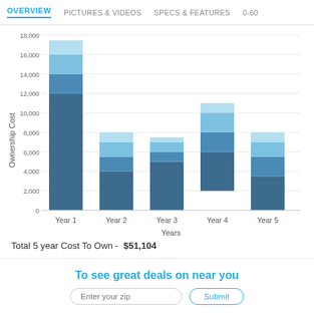OVERVIEW   PICTURES & VIDEOS   SPECS & FEATURES   0-60
[Figure (stacked-bar-chart): ]
Total 5 year Cost To Own -  $51,104
[Figure (pie-chart): Partial pie chart visible at bottom of page]
To see great deals on near you
Enter your zip   Submit